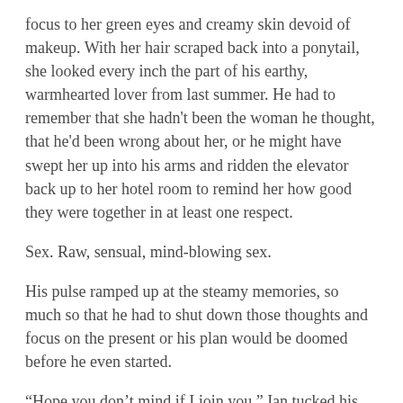focus to her green eyes and creamy skin devoid of makeup. With her hair scraped back into a ponytail, she looked every inch the part of his earthy, warmhearted lover from last summer. He had to remember that she hadn't been the woman he thought, that he'd been wrong about her, or he might have swept her up into his arms and ridden the elevator back up to her hotel room to remind her how good they were together in at least one respect.
Sex. Raw, sensual, mind-blowing sex.
His pulse ramped up at the steamy memories, so much so that he had to shut down those thoughts and focus on the present or his plan would be doomed before he even started.
“Hope you don’t mind if I join you.” Ian tucked his phone back into the pocket of the cargo shorts he’d slid on over his swim trunks.